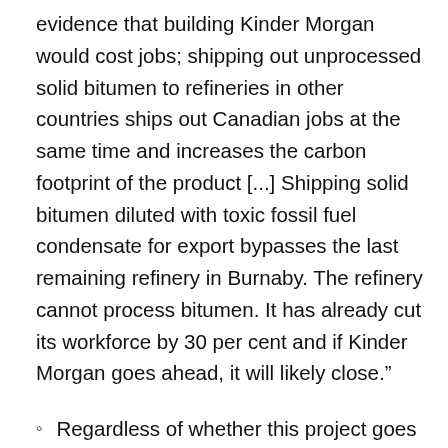evidence that building Kinder Morgan would cost jobs; shipping out unprocessed solid bitumen to refineries in other countries ships out Canadian jobs at the same time and increases the carbon footprint of the product [...] Shipping solid bitumen diluted with toxic fossil fuel condensate for export bypasses the last remaining refinery in Burnaby. The refinery cannot process bitumen. It has already cut its workforce by 30 per cent and if Kinder Morgan goes ahead, it will likely close.”
Regardless of whether this project goes ahead, Alberta oil sands jobs...